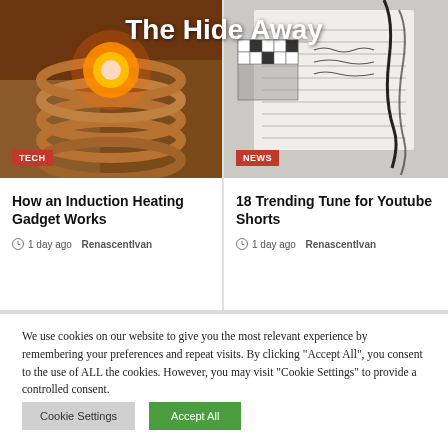The Hide Away
[Figure (photo): Induction heating gadget glowing orange/white hot surrounded by copper coils]
TECH
How an Induction Heating Gadget Works
1 day ago  RenascentIvan
[Figure (photo): Notebook with handwritten notes, crossword puzzle visible, grey background]
NEWS
18 Trending Tune for Youtube Shorts
1 day ago  RenascentIvan
We use cookies on our website to give you the most relevant experience by remembering your preferences and repeat visits. By clicking "Accept All", you consent to the use of ALL the cookies. However, you may visit "Cookie Settings" to provide a controlled consent.
Cookie Settings
Accept All